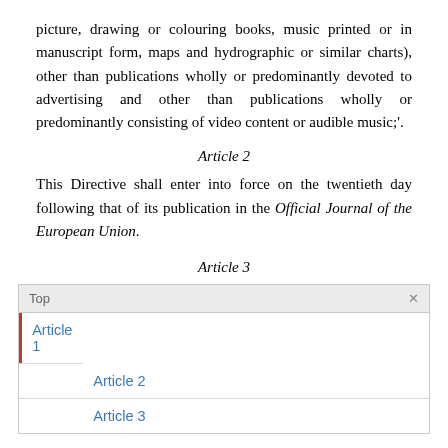picture, drawing or colouring books, music printed or in manuscript form, maps and hydrographic or similar charts), other than publications wholly or predominantly devoted to advertising and other than publications wholly or predominantly consisting of video content or audible music;'.
Article 2
This Directive shall enter into force on the twentieth day following that of its publication in the Official Journal of the European Union.
Article 3
| Top |  |
| --- | --- |
| Article 1 |  |
| Article 2 |  |
| Article 3 |  |